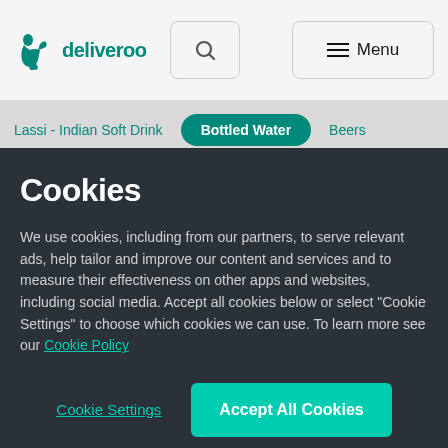[Figure (logo): Deliveroo logo with kangaroo icon and wordmark in teal]
deliveroo  [search icon]  ≡ Menu
Lassi - Indian Soft Drink  Bottled Water  Beers
Cookies
We use cookies, including from our partners, to serve relevant ads, help tailor and improve our content and services and to measure their effectiveness on other apps and websites, including social media. Accept all cookies below or select "Cookie Settings" to choose which cookies we can use. To learn more see our Cookie Policy
Cookie Settings
Accept All Cookies